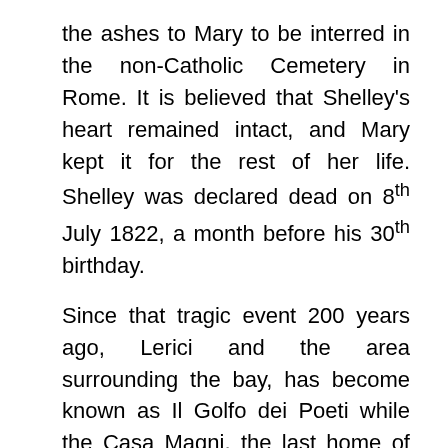the ashes to Mary to be interred in the non-Catholic Cemetery in Rome. It is believed that Shelley's heart remained intact, and Mary kept it for the rest of her life. Shelley was declared dead on 8th July 1822, a month before his 30th birthday.
Since that tragic event 200 years ago, Lerici and the area surrounding the bay, has become known as Il Golfo dei Poeti while the Casa Magni, the last home of Shelley and his family, still stands as an enduring monument to his final months.
In 1992 Shelley's birth was commemorated by the Keats-Shelley Memorial Association by a festival of poetry and literature at Lerici